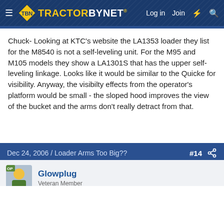TractorByNet — Log in  Join
Chuck- Looking at KTC's website the LA1353 loader they list for the M8540 is not a self-leveling unit. For the M95 and M105 models they show a LA1301S that has the upper self-leveling linkage. Looks like it would be similar to the Quicke for visibility. Anyway, the visibilty effects from the operator's platform would be small - the sloped hood improves the view of the bucket and the arms don't really detract from that.
Dec 24, 2006 / Loader Arms Too Big??  #14
Glowplug
Veteran Member